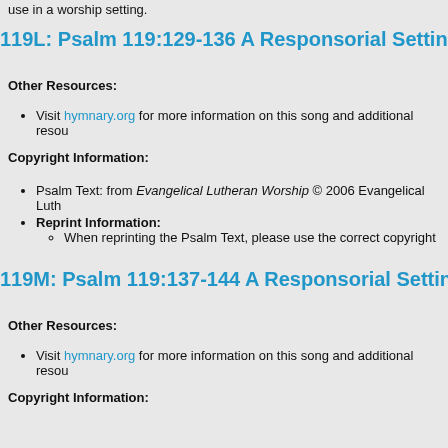use in a worship setting.
119L: Psalm 119:129-136 A Responsorial Setting
Other Resources:
Visit hymnary.org for more information on this song and additional resou
Copyright Information:
Psalm Text: from Evangelical Lutheran Worship © 2006 Evangelical Luth
Reprint Information:
When reprinting the Psalm Text, please use the correct copyright
119M: Psalm 119:137-144 A Responsorial Setting
Other Resources:
Visit hymnary.org for more information on this song and additional resou
Copyright Information: